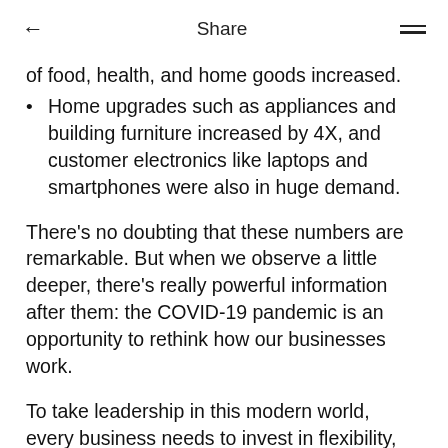← Share ≡
of food, health, and home goods increased.
Home upgrades such as appliances and building furniture increased by 4X, and customer electronics like laptops and smartphones were also in huge demand.
There's no doubting that these numbers are remarkable. But when we observe a little deeper, there's really powerful information after them: the COVID-19 pandemic is an opportunity to rethink how our businesses work.
To take leadership in this modern world, every business needs to invest in flexibility, agility, and adaptability.